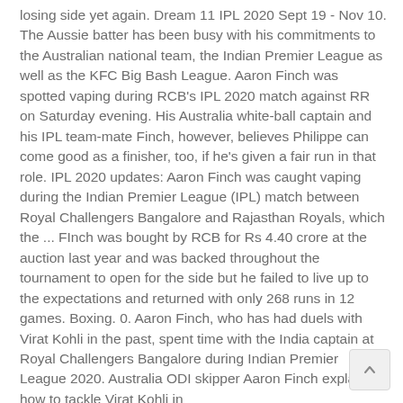losing side yet again. Dream 11 IPL 2020 Sept 19 - Nov 10. The Aussie batter has been busy with his commitments to the Australian national team, the Indian Premier League as well as the KFC Big Bash League. Aaron Finch was spotted vaping during RCB's IPL 2020 match against RR on Saturday evening. His Australia white-ball captain and his IPL team-mate Finch, however, believes Philippe can come good as a finisher, too, if he's given a fair run in that role. IPL 2020 updates: Aaron Finch was caught vaping during the Indian Premier League (IPL) match between Royal Challengers Bangalore and Rajasthan Royals, which the ... FInch was bought by RCB for Rs 4.40 crore at the auction last year and was backed throughout the tournament to open for the side but he failed to live up to the expectations and returned with only 268 runs in 12 games. Boxing. 0. Aaron Finch, who has had duels with Virat Kohli in the past, spent time with the India captain at Royal Challengers Bangalore during Indian Premier League 2020. Australia ODI skipper Aaron Finch explains how to tackle Virat Kohli in